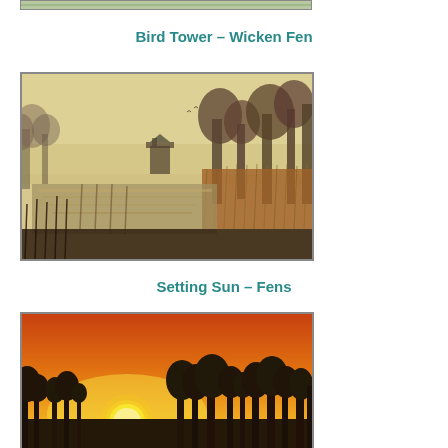[Figure (photo): Partial view of a photo at top of page, mostly cropped]
Bird Tower – Wicken Fen
[Figure (photo): Wetland scene at Wicken Fen showing water channel, reed beds, misty trees, and a bird tower silhouette in warm winter light]
Setting Sun – Fens
[Figure (photo): Dramatic sunset over the Fens with vivid orange sky, bright sun near horizon, and silhouettes of trees]